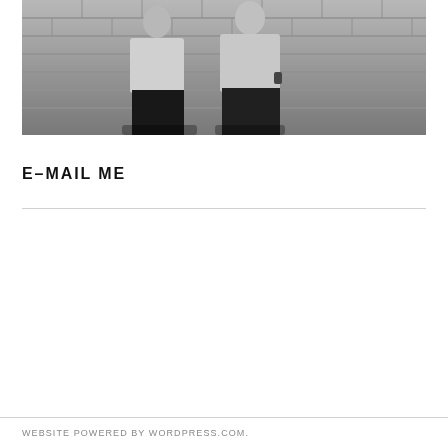[Figure (photo): Black and white photograph of two men standing against a brick wall, wearing casual short-sleeve shirts]
E–MAIL ME
WEBSITE POWERED BY WORDPRESS.COM.